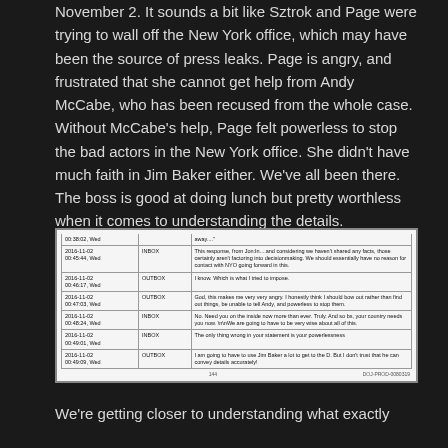November 2.  It sounds a bit like Sztrok and Page were trying to wall off the New York office, which may have been the source of press leaks.  Page is angry, and frustrated that she cannot get help from Andy McCabe, who has been recused from the whole case.  Without McCabe's help, Page felt powerless to stop the bad actors in the New York office.  She didn't have much faith in Jim Baker either.  We've all been there.  The boss is good at doing lunch but pretty worthless when it comes to understanding the details.
[Figure (screenshot): Screenshot of a table showing message logs with timestamps, INBOX/OUTBOX indicators, and message content from 2016-11-02. Messages discuss not sharing facts, imposing contact restrictions with NYO, anger about the situation, powerlessness, and distrust of Jim Baker conveying details accurately. Page number 144 and reference DOJ-PROD-0080319 shown at bottom.]
We're getting closer to understanding what exactly